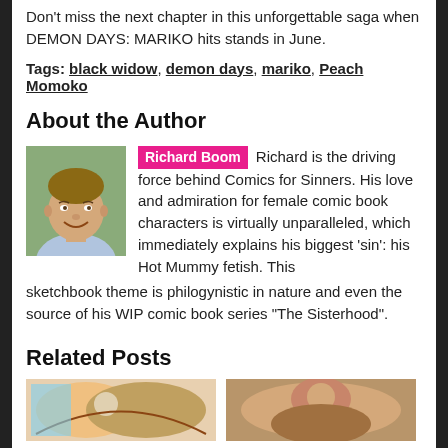Don't miss the next chapter in this unforgettable saga when DEMON DAYS: MARIKO hits stands in June.
Tags: black widow, demon days, mariko, Peach Momoko
About the Author
[Figure (photo): Headshot photo of Richard Boom, a smiling man]
Richard Boom Richard is the driving force behind Comics for Sinners. His love and admiration for female comic book characters is virtually unparalleled, which immediately explains his biggest 'sin': his Hot Mummy fetish. This sketchbook theme is philogynistic in nature and even the source of his WIP comic book series "The Sisterhood".
Related Posts
[Figure (illustration): Comic book illustration thumbnail]
[Figure (photo): Related post photo thumbnail]